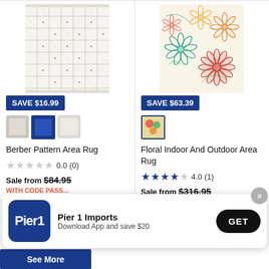[Figure (photo): Berber Pattern Area Rug - white/grey geometric trellis pattern rug image]
[Figure (photo): Floral Indoor And Outdoor Area Rug - colorful floral pattern rug image]
SAVE $16.99
SAVE $63.39
[Figure (other): Three color swatches for Berber Pattern Area Rug: grey, blue, light grey]
[Figure (other): One color swatch for Floral Indoor And Outdoor Area Rug: floral multicolor]
Berber Pattern Area Rug
Floral Indoor And Outdoor Area Rug
0.0 (0)
4.0 (1)
Sale from $84.95
Sale from $316.95
WITH CODE PASS...
Pier 1 Imports
Download App and save $20
GET
See More